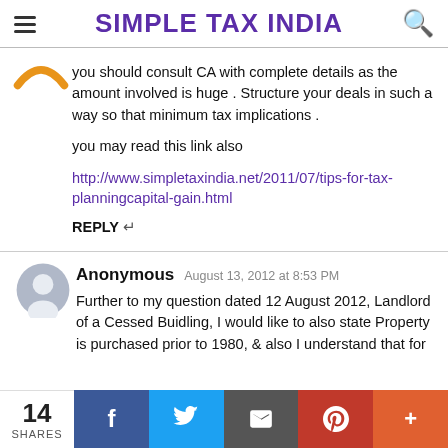SIMPLE TAX INDIA
you should consult CA with complete details as the amount involved is huge . Structure your deals in such a way so that minimum tax implications .

you may read this link also

http://www.simpletaxindia.net/2011/07/tips-for-tax-planningcapital-gain.html

REPLY
Anonymous August 13, 2012 at 8:53 PM
Further to my question dated 12 August 2012, Landlord of a Cessed Buidling, I would like to also state Property is purchased prior to 1980, & also I understand that for